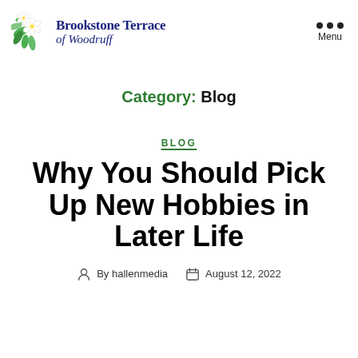Brookstone Terrace of Woodruff — Menu
Category: Blog
BLOG
Why You Should Pick Up New Hobbies in Later Life
By hallenmedia   August 12, 2022